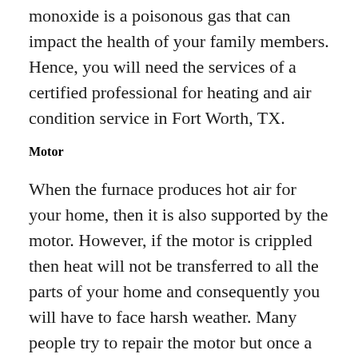monoxide is a poisonous gas that can impact the health of your family members. Hence, you will need the services of a certified professional for heating and air condition service in Fort Worth, TX.
Motor
When the furnace produces hot air for your home, then it is also supported by the motor. However, if the motor is crippled then heat will not be transferred to all the parts of your home and consequently you will have to face harsh weather. Many people try to repair the motor but once a motor goes bad, then your maintenance costs can be expected to increase in future. Thus, a better option would be to buy a new furnace with a